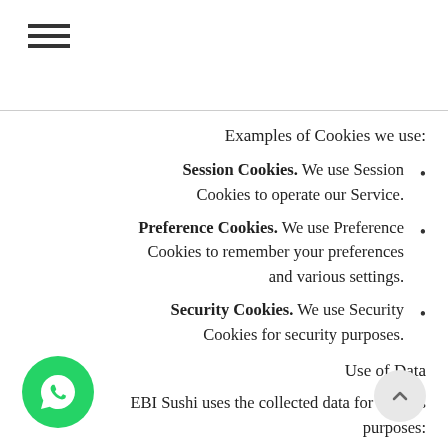≡
Examples of Cookies we use:
Session Cookies. We use Session Cookies to operate our Service.
Preference Cookies. We use Preference Cookies to remember your preferences and various settings.
Security Cookies. We use Security Cookies for security purposes.
Use of Data
EBI Sushi uses the collected data for various purposes:
To provide and maintain the Service